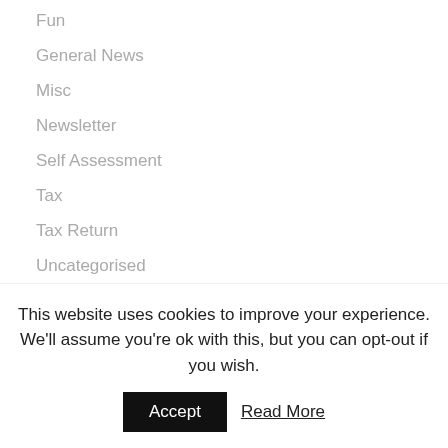Fun
General News
Misc
Newsletter
Self Assessment
Tax
Tax Return
Uncategorised
VAT
NEWSLETTER
This website uses cookies to improve your experience. We'll assume you're ok with this, but you can opt-out if you wish.
Accept   Read More